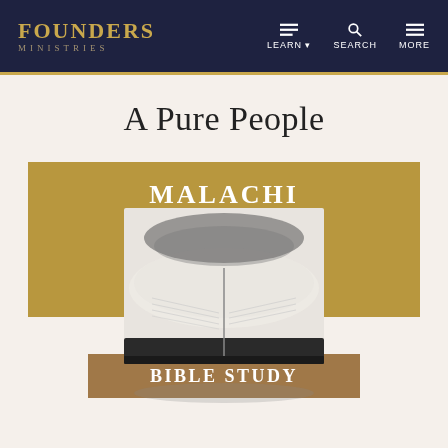FOUNDERS MINISTRIES — LEARN | SEARCH | MORE
A Pure People
[Figure (illustration): Malachi Bible Study book cover — gold banner with 'MALACHI' text, black-and-white photo of open Bible pages, and a brown 'BIBLE STUDY' banner below on cream background.]